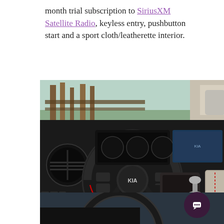month trial subscription to SiriusXM Satellite Radio, keyless entry, pushbutton start and a sport cloth/leatherette interior.
[Figure (photo): Interior photo of a Kia vehicle showing the steering wheel with Kia logo, dashboard, center console with gear shifter, and front seats with sport cloth/leatherette upholstery]
[Figure (photo): Partial bottom photo showing another view of the Kia vehicle interior]